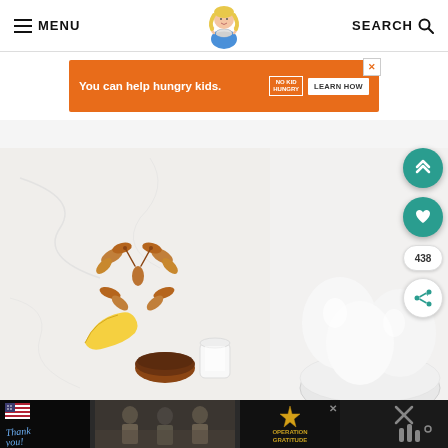MENU | [logo] | SEARCH
[Figure (screenshot): Orange advertisement banner: 'You can help hungry kids.' with No Kid Hungry logo and LEARN HOW button, with close X]
[Figure (photo): Food photography showing pecans arranged in butterfly shape on marble surface, with eggs in bowl, banana, chocolate powder, and milk jar]
[Figure (screenshot): Black bottom advertisement bar showing 'Thank you!' with American flag and military photos, Operation Gratitude logo, with close X]
[Figure (infographic): Teal circular scroll-up button with double chevron up arrows]
[Figure (infographic): Teal circular heart/favorite button]
438
[Figure (infographic): White circular share button with share icon]